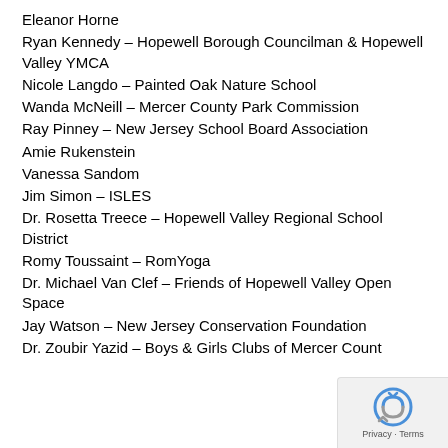Eleanor Horne
Ryan Kennedy – Hopewell Borough Councilman & Hopewell Valley YMCA
Nicole Langdo – Painted Oak Nature School
Wanda McNeill – Mercer County Park Commission
Ray Pinney – New Jersey School Board Association
Amie Rukenstein
Vanessa Sandom
Jim Simon – ISLES
Dr. Rosetta Treece – Hopewell Valley Regional School District
Romy Toussaint – RomYoga
Dr. Michael Van Clef – Friends of Hopewell Valley Open Space
Jay Watson – New Jersey Conservation Foundation
Dr. Zoubir Yazid – Boys & Girls Clubs of Mercer County